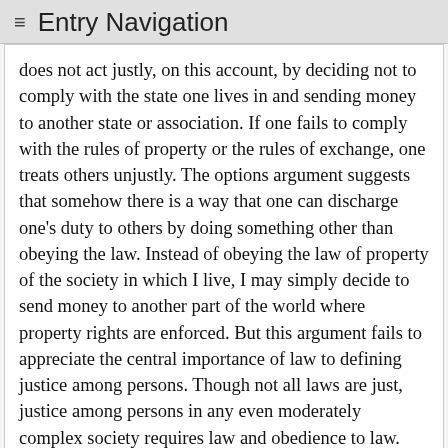≡ Entry Navigation
does not act justly, on this account, by deciding not to comply with the state one lives in and sending money to another state or association. If one fails to comply with the rules of property or the rules of exchange, one treats others unjustly. The options argument suggests that somehow there is a way that one can discharge one's duty to others by doing something other than obeying the law. Instead of obeying the law of property of the society in which I live, I may simply decide to send money to another part of the world where property rights are enforced. But this argument fails to appreciate the central importance of law to defining justice among persons. Though not all laws are just, justice among persons in any even moderately complex society requires law and obedience to law.
4.5 The Consent Theory of Political Authority: The Argument from Personal Reasons